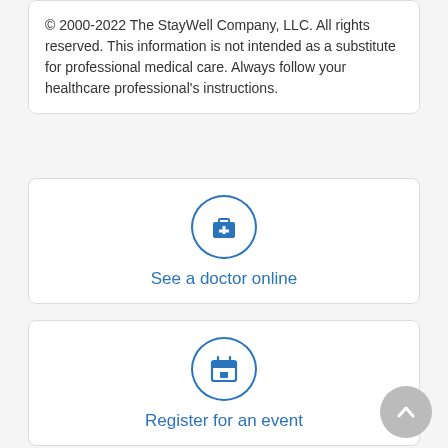© 2000-2022 The StayWell Company, LLC. All rights reserved. This information is not intended as a substitute for professional medical care. Always follow your healthcare professional's instructions.
[Figure (illustration): Blue circular icon with a medical kit/briefcase symbol with a plus sign, inside a circle outline]
See a doctor online
[Figure (illustration): Blue circular icon with a calendar symbol, inside a circle outline]
Register for an event
[Figure (illustration): Blue circular icon with a resize/expand arrows symbol, inside a circle outline, partially visible at bottom]
[Figure (illustration): Gray circular back-to-top button with upward arrow]